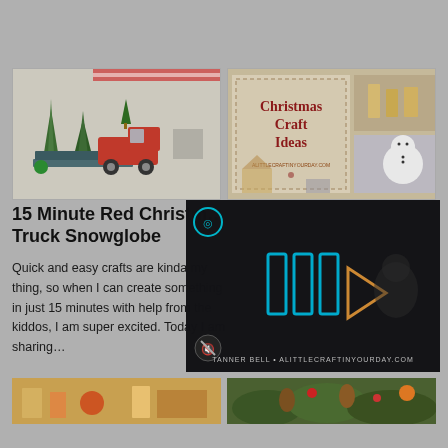[Figure (photo): Christmas scene with small bottlebrush trees, a red toy truck carrying a tree, and holiday decorations on stacked books against a light background]
[Figure (photo): Christmas Craft Ideas collage image with text 'Christmas Craft Ideas' in dark red on linen background, surrounded by smaller craft photos including a snowman and flower ornament]
15 Minute Red Christmas Truck Snowglobe
Quick and easy crafts are kind of my thing, so when I can create something in just 15 minutes with help from the kiddos, I am super excited. Today I am sharing...
[Figure (screenshot): Dark video overlay with blue geometric play button icon (three vertical bars with triangle), watermark text 'TANNER BELL • ALITTLECRAFTINYOURDAY.COM' at bottom, and mute button icon at lower left]
[Figure (photo): Partial view of a bottom-left image showing crafts on orange/yellow background]
[Figure (photo): Partial view of a bottom-right image showing pine cones, greenery and holiday arrangement]